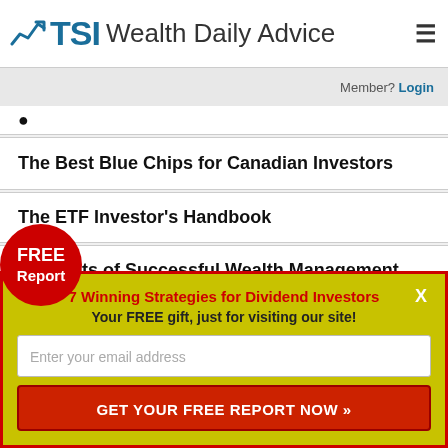TSI Wealth Daily Advice
Member? Login
The Best Blue Chips for Canadian Investors
The ETF Investor's Handbook
9 Secrets of Successful Wealth Management
FREE Report
7 Winning Strategies for Dividend Investors
Your FREE gift, just for visiting our site!
Enter your email address
GET YOUR FREE REPORT NOW »